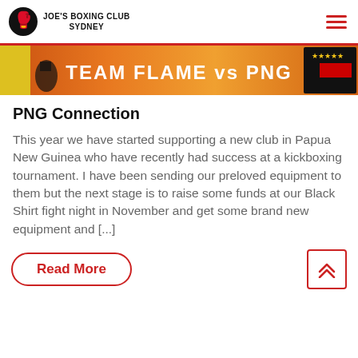JOE'S BOXING CLUB SYDNEY
[Figure (photo): Banner image showing 'TEAM FLAME vs PNG' fight event with orange/fire background and boxer silhouettes]
PNG Connection
This year we have started supporting a new club in Papua New Guinea who have recently had success at a kickboxing tournament. I have been sending our preloved equipment to them but the next stage is to raise some funds at our Black Shirt fight night in November and get some brand new equipment and [...]
Read More